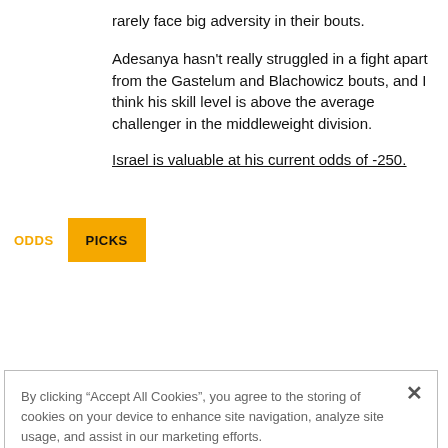rarely face big adversity in their bouts.
Adesanya hasn't really struggled in a fight apart from the Gastelum and Blachowicz bouts, and I think his skill level is above the average challenger in the middleweight division.
Israel is valuable at his current odds of -250.
[Figure (screenshot): Navigation bar with 'ODDS' label in yellow and 'PICKS' button with yellow background]
By clicking "Accept All Cookies", you agree to the storing of cookies on your device to enhance site navigation, analyze site usage, and assist in our marketing efforts.
Cookies Settings
Reject All
Accept All Cookies